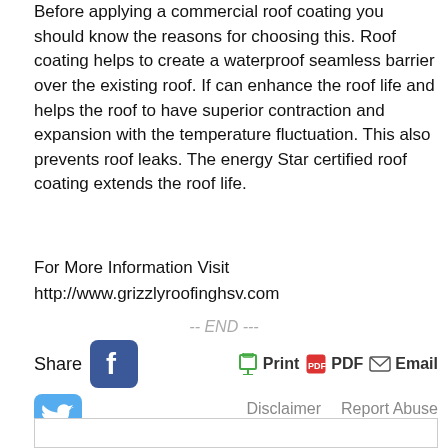Before applying a commercial roof coating you should know the reasons for choosing this. Roof coating helps to create a waterproof seamless barrier over the existing roof. If can enhance the roof life and helps the roof to have superior contraction and expansion with the temperature fluctuation. This also prevents roof leaks. The energy Star certified roof coating extends the roof life.
For More Information Visit http://www.grizzlyroofinghsv.com
-- END ---
Share | Print | PDF | Email | Disclaimer | Report Abuse